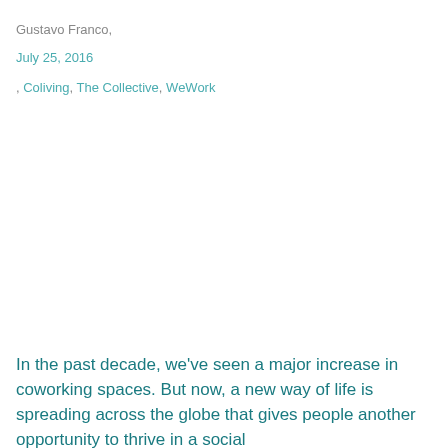Gustavo Franco,
July 25, 2016
, Coliving, The Collective, WeWork
In the past decade, we've seen a major increase in coworking spaces. But now, a new way of life is spreading across the globe that gives people another opportunity to thrive in a social